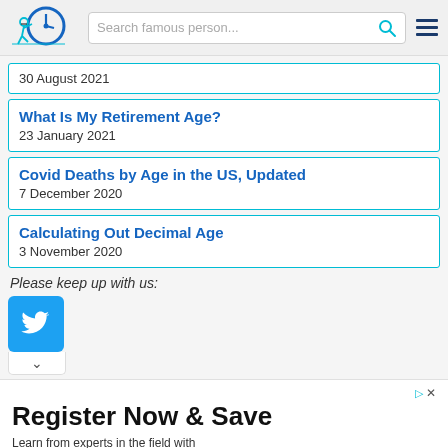Navigation bar with logo, search field, and hamburger menu
30 August 2021
What Is My Retirement Age?
23 January 2021
Covid Deaths by Age in the US, Updated
7 December 2020
Calculating Out Decimal Age
3 November 2020
Please keep up with us:
[Figure (logo): Twitter bird logo button in blue square]
[Figure (infographic): Ad banner: Register Now & Save - Learn from experts in the field with award-winning practices and insights. ATD - with Open button]